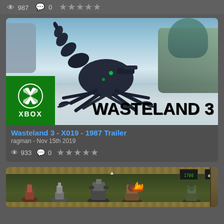987  0  ★★★★★
[Figure (screenshot): Wasteland 3 game screenshot showing a robotic scorpion creature on a snowy battlefield with Xbox branding and 'WASTELAND 3' title overlay]
Wasteland 3 - X019 - 1987 Trailer
ragman - Nov 15th 2019
933  0  ★★★★★
[Figure (screenshot): Top-down tower defense style game screenshot showing turrets and explosions on a grassy map with HUD elements]